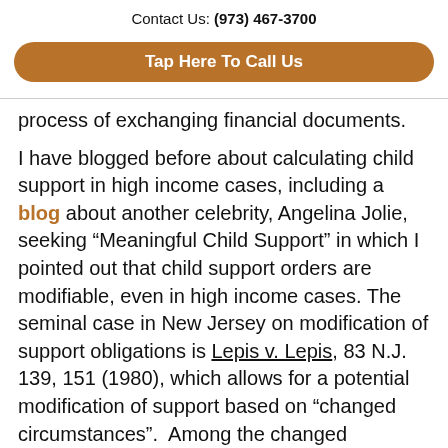Contact Us: (973) 467-3700
Tap Here To Call Us
process of exchanging financial documents.
I have blogged before about calculating child support in high income cases, including a blog about another celebrity, Angelina Jolie, seeking “Meaningful Child Support” in which I pointed out that child support orders are modifiable, even in high income cases. The seminal case in New Jersey on modification of support obligations is Lepis v. Lepis, 83 N.J. 139, 151 (1980), which allows for a potential modification of support based on “changed circumstances”.  Among the changed circumstances that can result in a review or modification of child support obligations